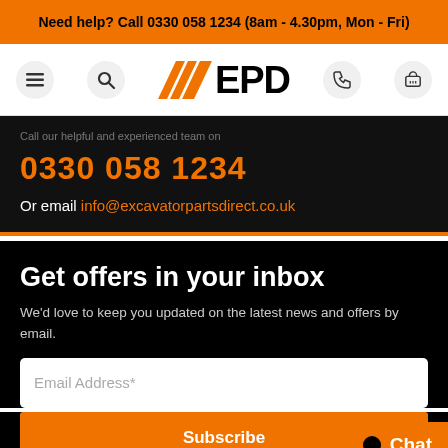Need help? Call 0330 058 1234 (8am - 4.30pm, Mon - Fri)
[Figure (logo): EPD logo with orange chevrons and bold text EPD]
0330 058 1234
Or email info@excavatorpartsdirect.co.uk
Get offers in your inbox
We'd love to keep you updated on the latest news and offers by email.
Email Address*
Subscribe